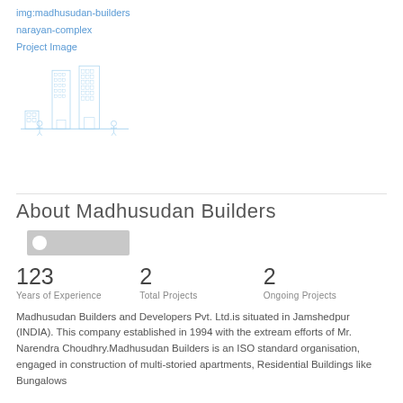[Figure (illustration): Broken image placeholder with alt text 'madhusudan-builders' shown as a link]
narayan-complex
Project Image
[Figure (illustration): Building icon illustration showing multi-story apartment buildings in light blue outline style]
About Madhusudan Builders
[Figure (logo): Company logo placeholder - grey rectangle with small circular icon on left]
123
Years of Experience
2
Total Projects
2
Ongoing Projects
Madhusudan Builders and Developers Pvt. Ltd.is situated in Jamshedpur (INDIA). This company established in 1994 with the extream efforts of Mr. Narendra Choudhry.Madhusudan Builders is an ISO standard organisation, engaged in construction of multi-storied apartments, Residential Buildings like Bungalows